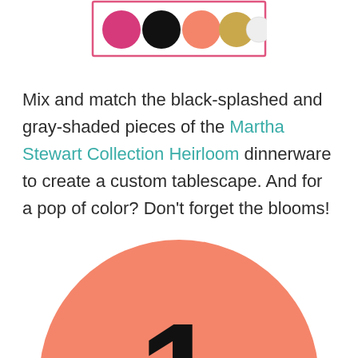[Figure (illustration): A color swatch palette showing five circles: hot pink/magenta, black, salmon/coral, gold/tan, and white/light gray, arranged in a row inside a pink-bordered rectangle.]
Mix and match the black-splashed and gray-shaded pieces of the Martha Stewart Collection Heirloom dinnerware to create a custom tablescape. And for a pop of color? Don't forget the blooms!
[Figure (illustration): A large salmon/coral colored circle with the number 1 in large bold black text in the center.]